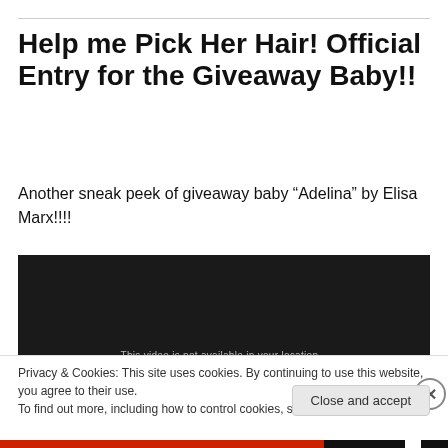Help me Pick Her Hair! Official Entry for the Giveaway Baby!!
Another sneak peek of giveaway baby “Adelina” by Elisa Marx!!!!
[Figure (other): Dark/black video embed placeholder with faint text partially visible at the bottom]
Privacy & Cookies: This site uses cookies. By continuing to use this website, you agree to their use.
To find out more, including how to control cookies, see here: Cookie Policy